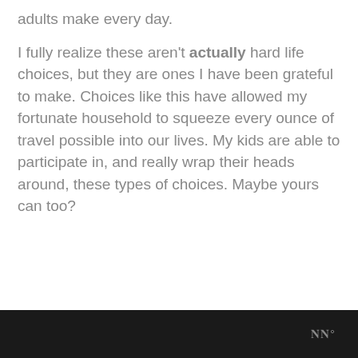adults make every day.
I fully realize these aren't actually hard life choices, but they are ones I have been grateful to make. Choices like this have allowed my fortunate household to squeeze every ounce of travel possible into our lives. My kids are able to participate in, and really wrap their heads around, these types of choices. Maybe yours can too?
WW°